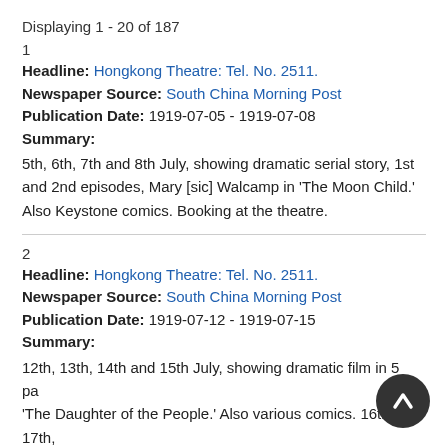Displaying 1 - 20 of 187
1
Headline: Hongkong Theatre: Tel. No. 2511.
Newspaper Source: South China Morning Post
Publication Date: 1919-07-05 - 1919-07-08
Summary:
5th, 6th, 7th and 8th July, showing dramatic serial story, 1st and 2nd episodes, Mary [sic] Walcamp in 'The Moon Child.' Also Keystone comics. Booking at the theatre.
2
Headline: Hongkong Theatre: Tel. No. 2511.
Newspaper Source: South China Morning Post
Publication Date: 1919-07-12 - 1919-07-15
Summary:
12th, 13th, 14th and 15th July, showing dramatic film in 5 parts, 'The Daughter of the People.' Also various comics. 16th, 17th, 18th, 21st and 22nd July, showing 3rd and 4th episodes, 'The Moon